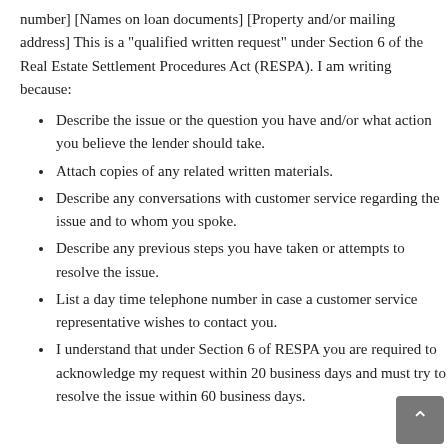number] [Names on loan documents] [Property and/or mailing address] This is a "qualified written request" under Section 6 of the Real Estate Settlement Procedures Act (RESPA). I am writing because:
Describe the issue or the question you have and/or what action you believe the lender should take.
Attach copies of any related written materials.
Describe any conversations with customer service regarding the issue and to whom you spoke.
Describe any previous steps you have taken or attempts to resolve the issue.
List a day time telephone number in case a customer service representative wishes to contact you.
I understand that under Section 6 of RESPA you are required to acknowledge my request within 20 business days and must try to resolve the issue within 60 business days.